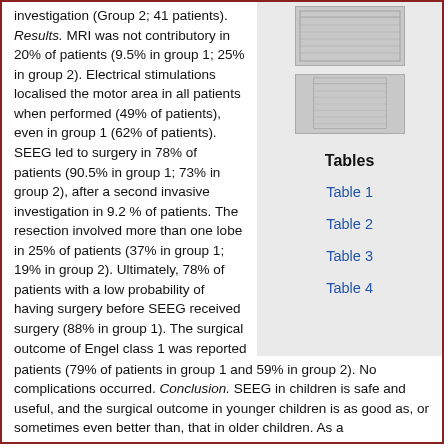investigation (Group 2; 41 patients). Results. MRI was not contributory in 20% of patients (9.5% in group 1; 25% in group 2). Electrical stimulations localised the motor area in all patients when performed (49% of patients), even in group 1 (62% of patients). SEEG led to surgery in 78% of patients (90.5% in group 1; 73% in group 2), after a second invasive investigation in 9.2 % of patients. The resection involved more than one lobe in 25% of patients (37% in group 1; 19% in group 2). Ultimately, 78% of patients with a low probability of having surgery before SEEG received surgery (88% in group 1). The surgical outcome of Engel class 1 was reported for 67% of patients (79% of patients in group 1 and 59% in group 2). No complications occurred. Conclusion. SEEG in children is safe and useful, and the surgical outcome in younger children is as good as, or sometimes even better than, that in older children. As a
[Figure (table-as-image): Thumbnail image of a table]
[Figure (table-as-image): Thumbnail image of a table]
Tables
Table 1
Table 2
Table 3
Table 4